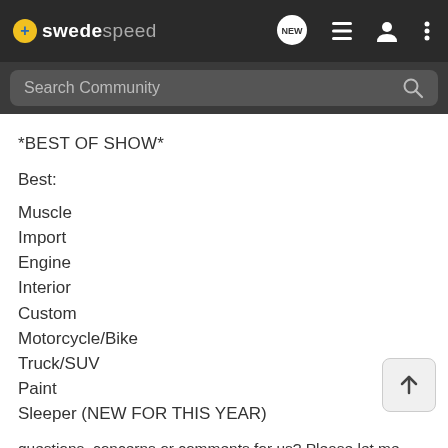swedespeed
Search Community
*BEST OF SHOW*
Best:
Muscle
Import
Engine
Interior
Custom
Motorcycle/Bike
Truck/SUV
Paint
Sleeper (NEW FOR THIS YEAR)
questions, concerns or comments for us? Please let me know!